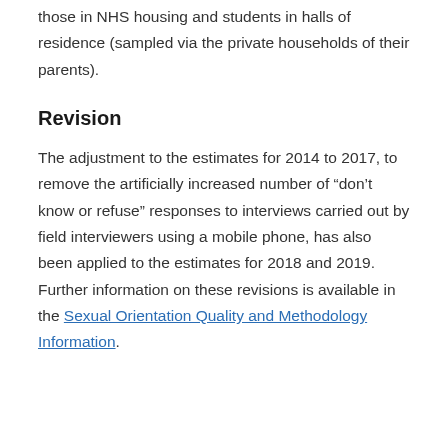those in NHS housing and students in halls of residence (sampled via the private households of their parents).
Revision
The adjustment to the estimates for 2014 to 2017, to remove the artificially increased number of “don’t know or refuse” responses to interviews carried out by field interviewers using a mobile phone, has also been applied to the estimates for 2018 and 2019. Further information on these revisions is available in the Sexual Orientation Quality and Methodology Information.